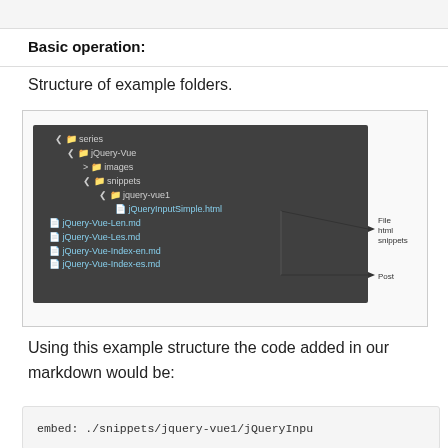Basic operation:
Structure of example folders.
[Figure (screenshot): Screenshot of a file tree in a dark IDE panel showing: series > jQuery-Vue > images, snippets > jquery-vue1 > jQueryInputSimple.html (with arrow to 'File html snippets'), and jQuery-Vue-Len.md, jQuery-Vue-Les.md, jQuery-Vue-Index-en.md, jQuery-Vue-Index-es.md (with arrow to 'Post')]
Using this example structure the code added in our markdown would be:
embed: ./snippets/jquery-vue1/jQueryInpu